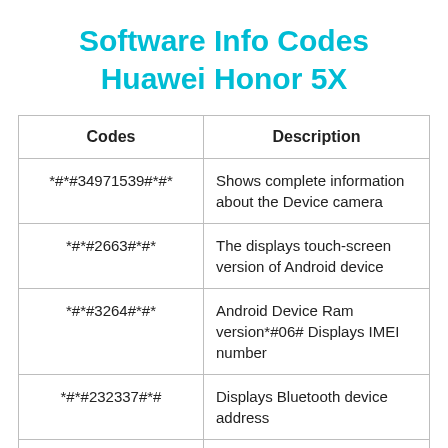Software Info Codes Huawei Honor 5X
| Codes | Description |
| --- | --- |
| *#*#34971539#*#* | Shows complete information about the Device camera |
| *#*#2663#*#* | The displays touch-screen version of Android device |
| *#*#3264#*#* | Android Device Ram version*#06# Displays IMEI number |
| *#*#232337#*# | Displays Bluetooth device address |
| *#*#232338#*#* | Displays Wi-Fi Mac-address |